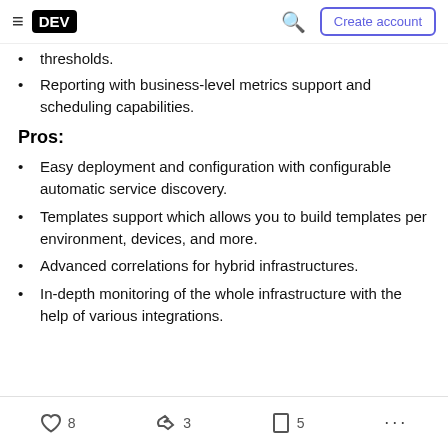DEV | Create account
thresholds.
Reporting with business-level metrics support and scheduling capabilities.
Pros:
Easy deployment and configuration with configurable automatic service discovery.
Templates support which allows you to build templates per environment, devices, and more.
Advanced correlations for hybrid infrastructures.
In-depth monitoring of the whole infrastructure with the help of various integrations.
8  3  5  ...